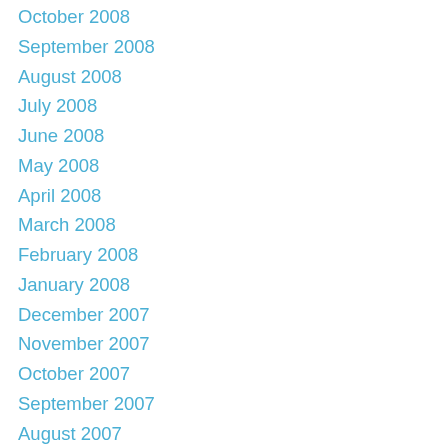October 2008
September 2008
August 2008
July 2008
June 2008
May 2008
April 2008
March 2008
February 2008
January 2008
December 2007
November 2007
October 2007
September 2007
August 2007
July 2007
June 2007
May 2007
April 2007
March 2007